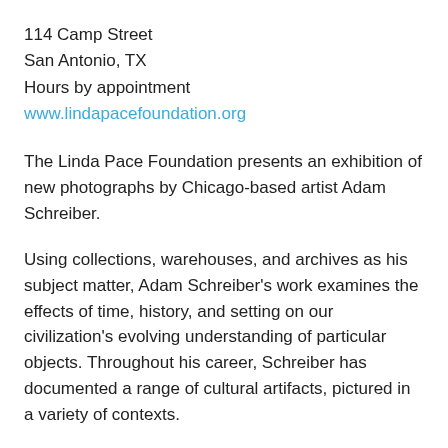114 Camp Street
San Antonio, TX
Hours by appointment
www.lindapacefoundation.org
The Linda Pace Foundation presents an exhibition of new photographs by Chicago-based artist Adam Schreiber.
Using collections, warehouses, and archives as his subject matter, Adam Schreiber's work examines the effects of time, history, and setting on our civilization's evolving understanding of particular objects. Throughout his career, Schreiber has documented a range of cultural artifacts, pictured in a variety of contexts.
For his project at the Linda Pace Foundation, Schreiber was granted access to the CAMPstreet penthouse residence of late